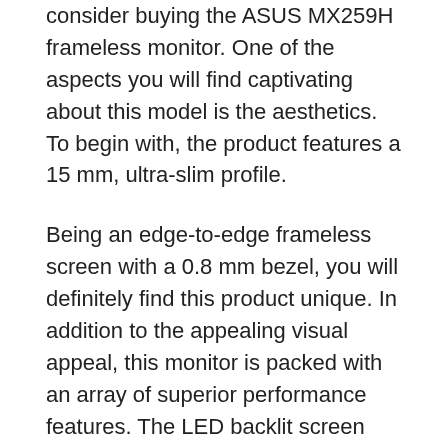consider buying the ASUS MX259H frameless monitor. One of the aspects you will find captivating about this model is the aesthetics. To begin with, the product features a 15 mm, ultra-slim profile.
Being an edge-to-edge frameless screen with a 0.8 mm bezel, you will definitely find this product unique. In addition to the appealing visual appeal, this monitor is packed with an array of superior performance features. The LED backlit screen features the latest IPS panel technology, capable of delivering an aspect ratio of 16:9.
In a bid to minimize color shift on the screen, this monitor offers a 178 degrees wide-view angle. As